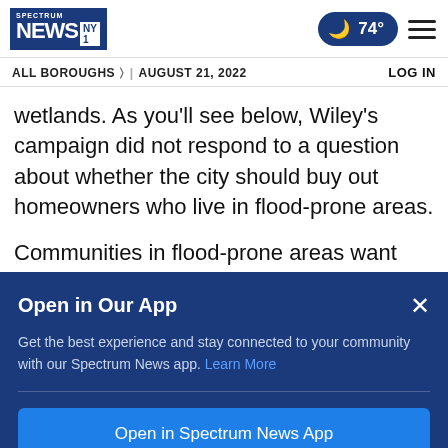Spectrum News NY1 | 74° | ALL BOROUGHS | AUGUST 21, 2022 | LOG IN
wetlands. As you'll see below, Wiley's campaign did not respond to a question about whether the city should buy out homeowners who live in flood-prone areas.
Communities in flood-prone areas want
[Figure (screenshot): App promotion modal overlay with dark blue background. Title: 'Open in Our App'. Close (X) button at top right. Body text: 'Get the best experience and stay connected to your community with our Spectrum News app. Learn More'. Horizontal divider. Blue button: 'Open in Spectrum News App'. Link: 'Continue in Browser'.]